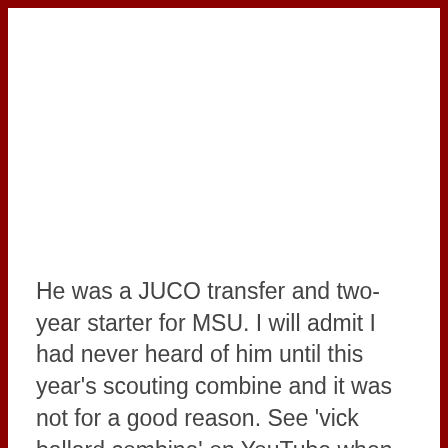He was a JUCO transfer and two-year starter for MSU. I will admit I had never heard of him until this year's scouting combine and it was not for a good reason. See 'vick ballard combine' on YouTube when you have a second. Ouch. After hearing his name called on Saturday I remembered who he was instantly. He then proceeded to score in the SEC and